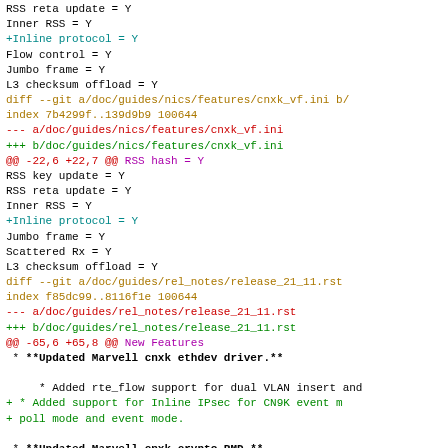RSS reta update           = Y
 Inner RSS                = Y
+Inline protocol          = Y
 Flow control             = Y
 Jumbo frame              = Y
 L3 checksum offload  = Y
diff --git a/doc/guides/nics/features/cnxk_vf.ini b/
index 7b4299f..139d9b9 100644
--- a/doc/guides/nics/features/cnxk_vf.ini
+++ b/doc/guides/nics/features/cnxk_vf.ini
@@ -22,6 +22,7 @@ RSS hash               = Y
 RSS key update           = Y
 RSS reta update          = Y
 Inner RSS               = Y
+Inline protocol          = Y
 Jumbo frame              = Y
 Scattered Rx             = Y
 L3 checksum offload  = Y
diff --git a/doc/guides/rel_notes/release_21_11.rst
index f85dc99..8116f1e 100644
--- a/doc/guides/rel_notes/release_21_11.rst
+++ b/doc/guides/rel_notes/release_21_11.rst
@@ -65,6 +65,8 @@ New Features
  * **Updated Marvell cnxk ethdev driver.**

     * Added rte_flow support for dual VLAN insert and
+  * Added support for Inline IPsec for CN9K event m
+    poll mode and event mode.

  * **Updated Marvell cnxk crypto PMD.**

diff --git a/drivers/event/cnxk/cnxk_eventdev_adptr...